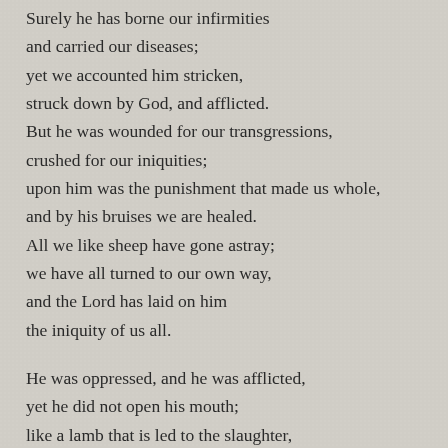Surely he has borne our infirmities
and carried our diseases;
yet we accounted him stricken,
struck down by God, and afflicted.
But he was wounded for our transgressions,
crushed for our iniquities;
upon him was the punishment that made us whole,
and by his bruises we are healed.
All we like sheep have gone astray;
we have all turned to our own way,
and the Lord has laid on him
the iniquity of us all.

He was oppressed, and he was afflicted,
yet he did not open his mouth;
like a lamb that is led to the slaughter,
and like a sheep that before its shearers is silent,
so he did not open his mouth.
By a perversion of justice he was taken away.